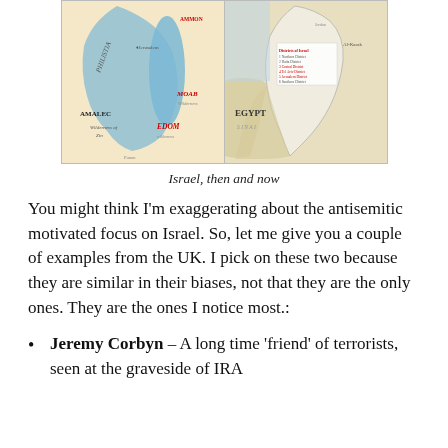[Figure (map): Two side-by-side maps: left map shows ancient Israel with regions labeled PHILISTIA, AMMON, MOAB, EDOM, AMALEC, Wilderness of Zin, and Jerusalem. Right map shows modern Israel with surrounding countries including Egypt, Sinai, and districts of Israel labeled.]
Israel, then and now
You might think I'm exaggerating about the antisemitic motivated focus on Israel. So, let me give you a couple of examples from the UK. I pick on these two because they are similar in their biases, not that they are the only ones. They are the ones I notice most.:
Jeremy Corbyn – A long time 'friend' of terrorists, seen at the graveside of IRA